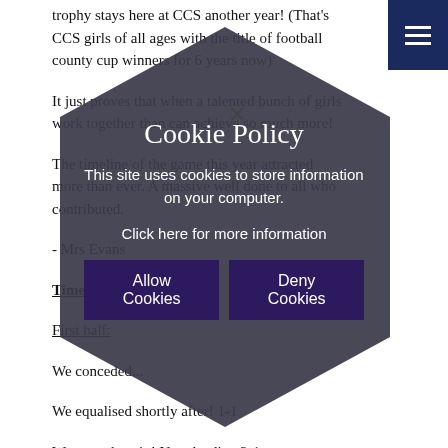trophy stays here at CCS another year! (That's CCS girls of all ages with the title of football county cup winners for 6 years now)
It just proves that when a talented bunch of girls work together than can achieve so much more!
The timeline of the game this year attracted more than ever. A massive well done to all who contributed.
- Mrs Evans
Timeline of game:
First half:
We conceded...
We equalised shortly after! 1-1
We scored again! Now leading 2-1
2nd half:
We conceded again it's now 2-2
[Figure (infographic): Cookie Policy overlay with dark hexagon shape background. Title: Cookie Policy. Text: This site uses cookies to store information on your computer. Click here for more information. Buttons: Allow Cookies, Deny Cookies. Close X button visible.]